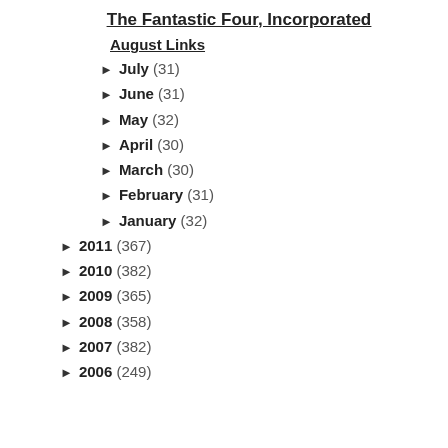The Fantastic Four, Incorporated
August Links
► July (31)
► June (31)
► May (32)
► April (30)
► March (30)
► February (31)
► January (32)
► 2011 (367)
► 2010 (382)
► 2009 (365)
► 2008 (358)
► 2007 (382)
► 2006 (249)